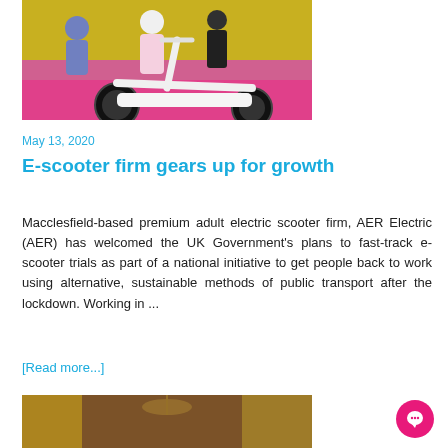[Figure (photo): Photo of a white electric scooter/e-bike on a pink/magenta stage with people in background]
May 13, 2020
E-scooter firm gears up for growth
Macclesfield-based premium adult electric scooter firm, AER Electric (AER) has welcomed the UK Government's plans to fast-track e-scooter trials as part of a national initiative to get people back to work using alternative, sustainable methods of public transport after the lockdown. Working in ...
[Read more...]
[Figure (photo): Photo of an interior room with curtains and chandelier]